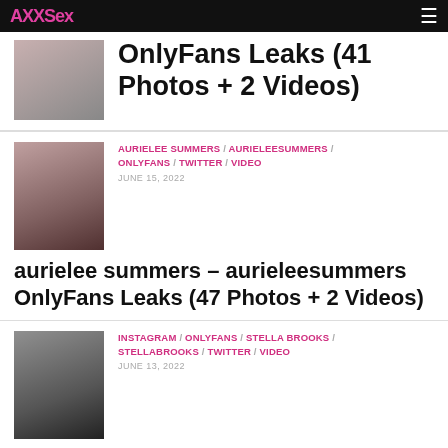AAAXSex / OnlyFans Leaks (41 Photos + 2 Videos)
OnlyFans Leaks (41 Photos + 2 Videos)
AURIELEE SUMMERS / AURIELEESUMMERS / ONLYFANS / TWITTER / VIDEO
JUNE 15, 2022
aurielee summers – aurieleesummers OnlyFans Leaks (47 Photos + 2 Videos)
INSTAGRAM / ONLYFANS / STELLA BROOKS / STELLABROOKS / TWITTER / VIDEO
JUNE 13, 2022
Stella Brooks – stellabrooks OnlyFans Leaks (46 Photos + 2...